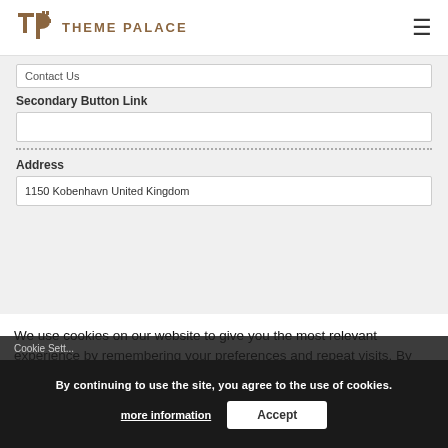THEME PALACE
Contact Us
Secondary Button Link
Address
1150 Kobenhavn United Kingdom
We use cookies on our website to give you the most relevant experience by remembering your preferences and repeat visits. By clicking “Accept All”, you consent to the use of ALL the cookies. However, you may visit "Cookie Settings" to provide a controlled consent.
By continuing to use the site, you agree to the use of cookies.
more information
Accept